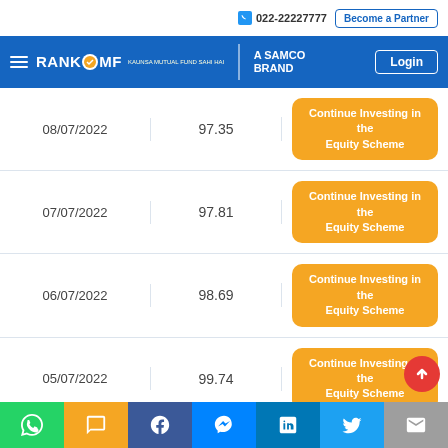022-22227777 | Become a Partner
RANK MF A SAMCO BRAND | Login
| Date | NAV | Action |
| --- | --- | --- |
| 08/07/2022 | 97.35 | Continue Investing in the Equity Scheme |
| 07/07/2022 | 97.81 | Continue Investing in the Equity Scheme |
| 06/07/2022 | 98.69 | Continue Investing in the Equity Scheme |
| 05/07/2022 | 99.74 | Continue Investing in the Equity Scheme |
| 04/07/2022 | 99.82 | Continue Investing in the Equity Scheme |
| 01/07/2022 | 100.91 | Continue Investing in the Equity Scheme |
Social sharing: WhatsApp, SMS, Facebook, Messenger, LinkedIn, Twitter, Email